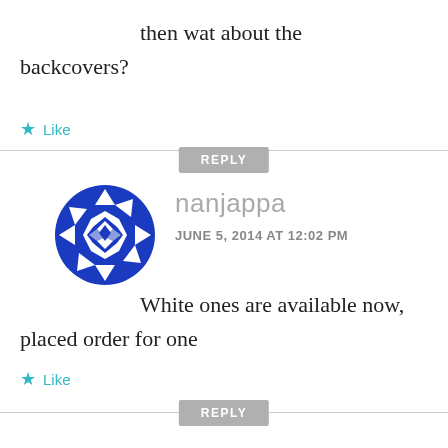then wat about the backcovers?
★ Like
REPLY
[Figure (logo): Blue geometric circular avatar with snowflake/quilt pattern design for user nanjappa]
nanjappa
JUNE 5, 2014 AT 12:02 PM
White ones are available now, placed order for one
★ Like
REPLY